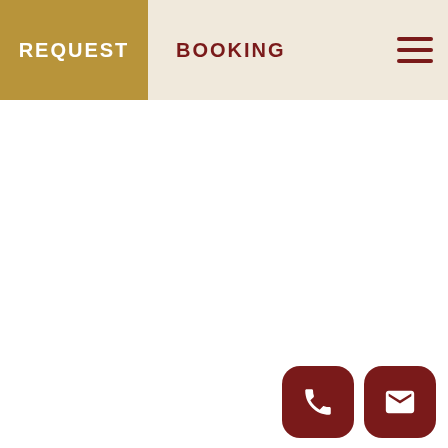REQUEST   BOOKING
[Figure (screenshot): Mobile app navigation header with two tabs: REQUEST (gold background, white text) and BOOKING (cream background, dark red text), plus a hamburger menu icon on the right]
[Figure (infographic): Two rounded square action buttons at bottom right: a phone icon button and an email/envelope icon button, both in dark red]